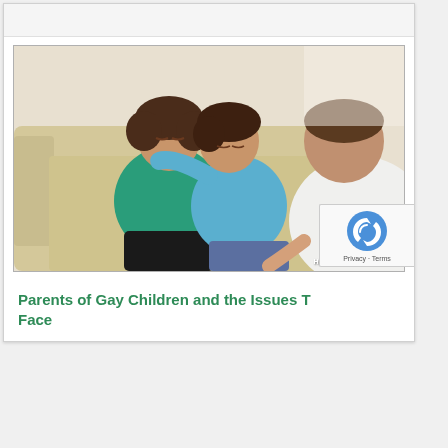[Figure (photo): A woman and a teenager hugging on a sofa while a man in a white shirt sits across from them, appearing to be in a counseling or family therapy session. Watermark reads HEALTHYPLACE.COM.]
Parents of Gay Children and the Issues They Face